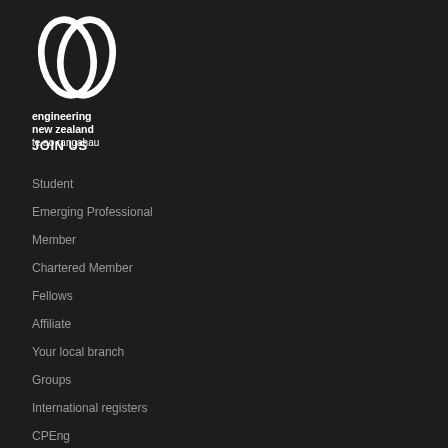[Figure (logo): Engineering New Zealand logo — two interlocking oval rings in white, with text 'engineering new zealand te ao rangahau' below]
JOIN US
Student
Emerging Professional
Member
Chartered Member
Fellows
Affiliate
Your local branch
Groups
International registers
CPEng
Immigration